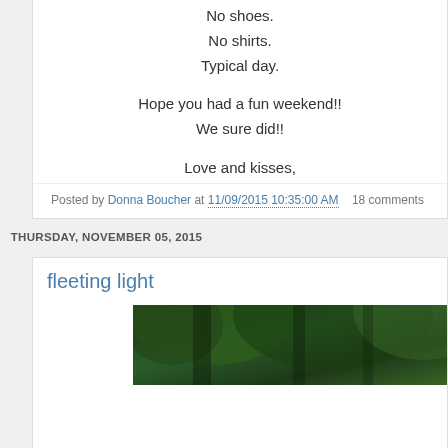No shoes.
No shirts.
Typical day.

Hope you had a fun weekend!!
We sure did!!

Love and kisses,
Donna
Posted by Donna Boucher at 11/09/2015 10:35:00 AM   18 comments
THURSDAY, NOVEMBER 05, 2015
fleeting light
[Figure (photo): Outdoor photo showing green trees/foliage with dark background, partial view]